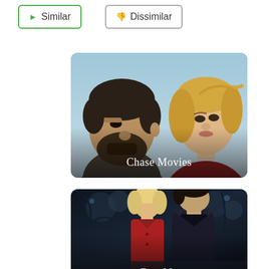▶ Similar
👎 Dissimilar
[Figure (photo): Movie thumbnail for 'Chase Movies' showing a man with beard on the left and a blonde woman on the right against a blue sky background, with text 'Chase Movies' overlaid at the bottom center.]
[Figure (photo): Movie thumbnail partially visible for a 'Date Movies' category showing a woman in red coat and a man in dark coat standing outdoors in a winter/night scene, with text partially visible at the bottom.]